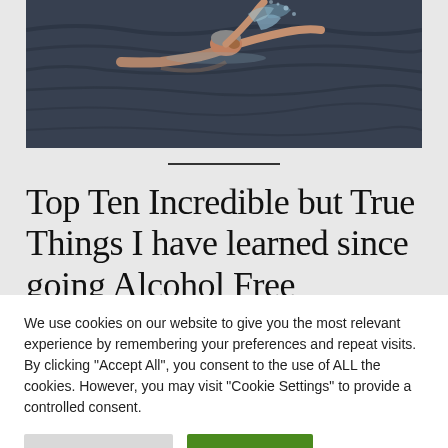[Figure (photo): A swimmer doing freestyle stroke in open water, photographed from the side. Water splashes around the swimmer. Dark, moody water tones.]
Top Ten Incredible but True Things I have learned since going Alcohol Free
We use cookies on our website to give you the most relevant experience by remembering your preferences and repeat visits. By clicking "Accept All", you consent to the use of ALL the cookies. However, you may visit "Cookie Settings" to provide a controlled consent.